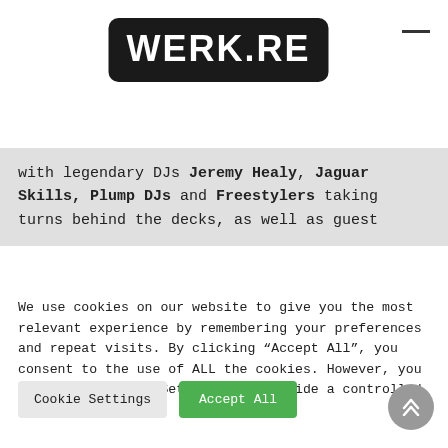[Figure (logo): WERK.RE logo in white bold text on black rounded rectangle background]
with legendary DJs Jeremy Healy, Jaguar Skills, Plump DJs and Freestylers taking turns behind the decks, as well as guest
We use cookies on our website to give you the most relevant experience by remembering your preferences and repeat visits. By clicking “Accept All”, you consent to the use of ALL the cookies. However, you may visit “Cookie Settings” to provide a controlled consent.
Cookie Settings
Accept All